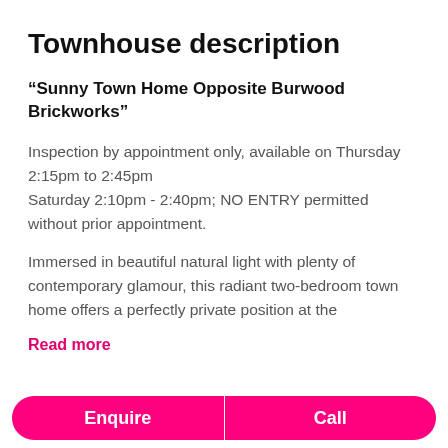Townhouse description
“Sunny Town Home Opposite Burwood Brickworks”
Inspection by appointment only, available on Thursday 2:15pm to 2:45pm Saturday 2:10pm - 2:40pm; NO ENTRY permitted without prior appointment.
Immersed in beautiful natural light with plenty of contemporary glamour, this radiant two-bedroom town home offers a perfectly private position at the
Read more